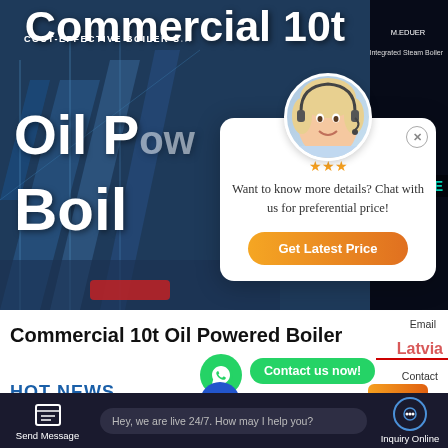[Figure (screenshot): Hero banner of a commercial boiler website showing large white bold text 'Commercial 10t Oil Powered Boiler' on a dark blue industrial background]
[Figure (screenshot): Chat popup modal with female customer service avatar, star ratings, text 'Want to know more details? Chat with us for preferential price!' and orange 'Get Latest Price' button]
Commercial 10t Oil Powered Boiler
Email
Latvia
Contact us now!
Contact
HOT NEWS
Hey, we are live 24/7. How may I help you?
Send Message    Hey, we are live 24/7. How may I help you?    Inquiry Online